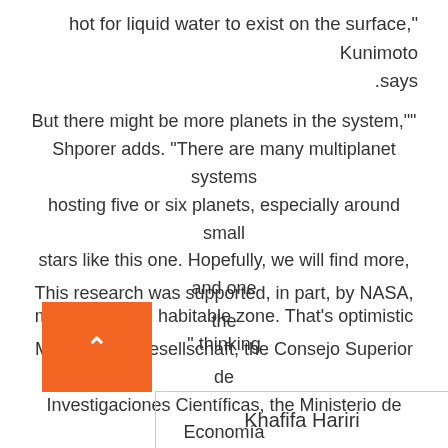hot for liquid water to exist on the surface," Kunimoto .says
But there might be more planets in the system,"" Shporer adds. "There are many multiplanet systems hosting five or six planets, especially around small stars like this one. Hopefully, we will find more, and one might be in the habitable zone. That's optimistic ".thinking
This research was supported, in part, by NASA, the Max-Planck-Gesellschaft, the Consejo Superior de Investigaciones Científicas, the Ministerio de Economía y Competitividad, and the European Regional Development Fund.
Khafifa Hariri